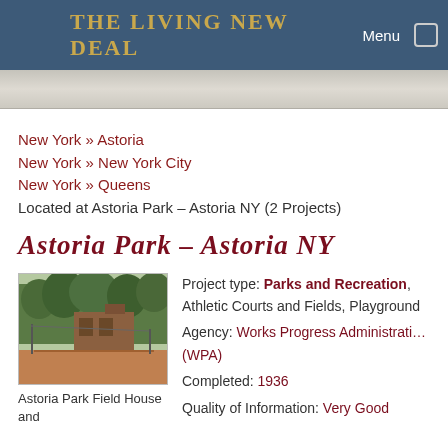THE LIVING NEW DEAL  Menu
New York » Astoria
New York » New York City
New York » Queens
Located at Astoria Park – Astoria NY (2 Projects)
ASTORIA PARK – ASTORIA NY
[Figure (photo): Photo of Astoria Park Field House and surrounding park area with trees and athletic courts]
Astoria Park Field House and
Project type: Parks and Recreation, Athletic Courts and Fields, Playground
Agency: Works Progress Administration (WPA)
Completed: 1936
Quality of Information: Very Good